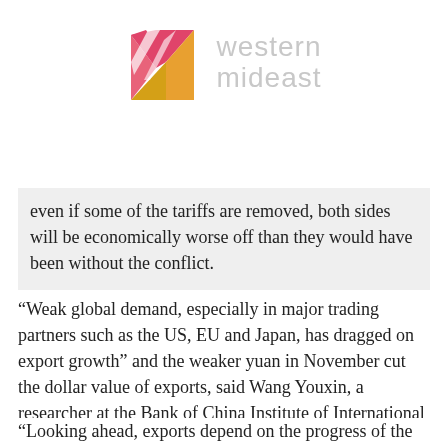[Figure (logo): Western Mideast logo: geometric M shape in pink, red and gold, with 'western mideast' text in light gray sans-serif]
even if some of the tariffs are removed, both sides will be economically worse off than they would have been without the conflict.
“Weak global demand, especially in major trading partners such as the US, EU and Japan, has dragged on export growth” and the weaker yuan in November cut the dollar value of exports, said Wang Youxin, a researcher at the Bank of China Institute of International Finance.
“Looking ahead, exports depend on the progress of the trade talks. If the phase one deal is reached